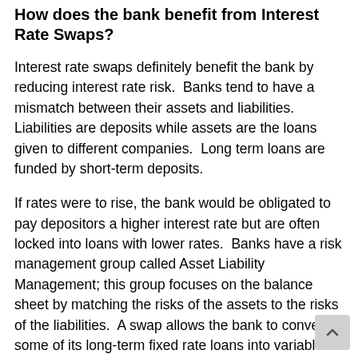How does the bank benefit from Interest Rate Swaps?
Interest rate swaps definitely benefit the bank by reducing interest rate risk.  Banks tend to have a mismatch between their assets and liabilities.  Liabilities are deposits while assets are the loans given to different companies.  Long term loans are funded by short-term deposits.
If rates were to rise, the bank would be obligated to pay depositors a higher interest rate but are often locked into loans with lower rates.  Banks have a risk management group called Asset Liability Management; this group focuses on the balance sheet by matching the risks of the assets to the risks of the liabilities.  A swap allows the bank to convert some of its long-term fixed rate loans into variable rates.  The bank is sa when they have assets and liabilities at a floating